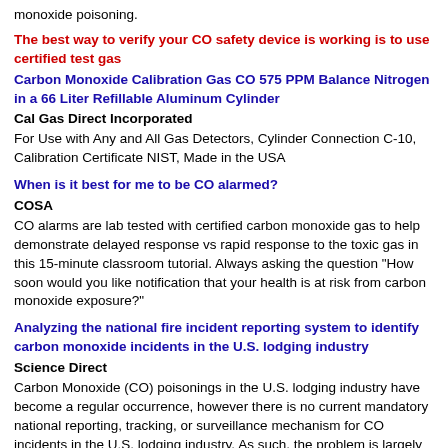monoxide poisoning.
The best way to verify your CO safety device is working is to use certified test gas
Carbon Monoxide Calibration Gas CO 575 PPM Balance Nitrogen in a 66 Liter Refillable Aluminum Cylinder
Cal Gas Direct Incorporated
For Use with Any and All Gas Detectors, Cylinder Connection C-10, Calibration Certificate NIST, Made in the USA
When is it best for me to be CO alarmed?
COSA
CO alarms are lab tested with certified carbon monoxide gas to help demonstrate delayed response vs rapid response to the toxic gas in this 15-minute classroom tutorial. Always asking the question "How soon would you like notification that your health is at risk from carbon monoxide exposure?"
Analyzing the national fire incident reporting system to identify carbon monoxide incidents in the U.S. lodging industry
Science Direct
Carbon Monoxide (CO) poisonings in the U.S. lodging industry have become a regular occurrence, however there is no current mandatory national reporting, tracking, or surveillance mechanism for CO incidents in the U.S. lodging industry. As such, the problem is largely invisible. The objective of this study was to utilize the National Fire Incident Reporting System (NFIRS) data to better understand the public health risk from